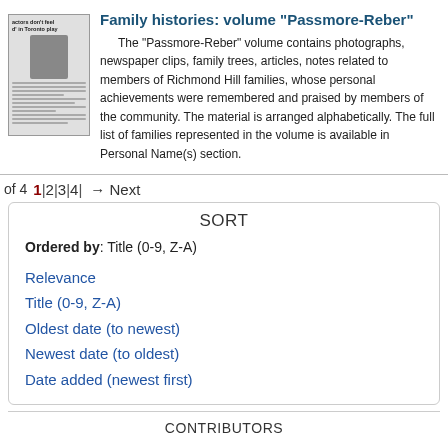[Figure (photo): Thumbnail of a newspaper clipping showing a headline and a portrait photo of a person]
Family histories: volume "Passmore-Reber"
The "Passmore-Reber" volume contains photographs, newspaper clips, family trees, articles, notes related to members of Richmond Hill families, whose personal achievements were remembered and praised by members of the community. The material is arranged alphabetically. The full list of families represented in the volume is available in Personal Name(s) section.
of 4   1|2|3|4|  → Next
SORT
Ordered by: Title (0-9, Z-A)
Relevance
Title (0-9, Z-A)
Oldest date (to newest)
Newest date (to oldest)
Date added (newest first)
CONTRIBUTORS